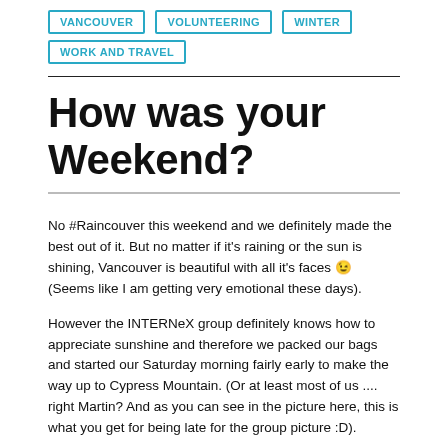VANCOUVER
VOLUNTEERING
WINTER
WORK AND TRAVEL
How was your Weekend?
No #Raincouver this weekend and we definitely made the best out of it. But no matter if it's raining or the sun is shining, Vancouver is beautiful with all it's faces 😉 (Seems like I am getting very emotional these days).
However the INTERNeX group definitely knows how to appreciate sunshine and therefore we packed our bags and started our Saturday morning fairly early to make the way up to Cypress Mountain. (Or at least most of us .... right Martin? And as you can see in the picture here, this is what you get for being late for the group picture :D).